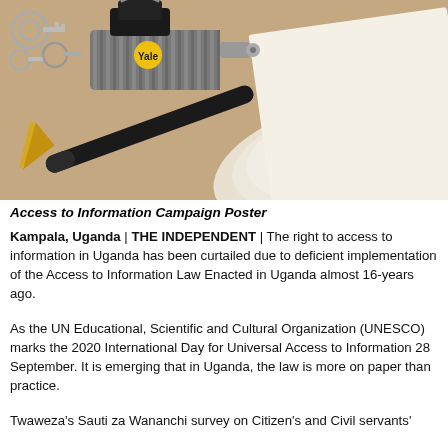[Figure (photo): A Yale padlock and a pen resting on an open document/book, symbolizing access to information. A document with text about Professional Standards Commission is partially visible in the background.]
Access to Information Campaign Poster
Kampala, Uganda | THE INDEPENDENT | The right to access to information in Uganda has been curtailed due to deficient implementation of the Access to Information Law Enacted in Uganda almost 16-years ago.
As the UN Educational, Scientific and Cultural Organization (UNESCO) marks the 2020 International Day for Universal Access to Information 28 September. It is emerging that in Uganda, the law is more on paper than practice.
Twaweza's Sauti za Wananchi survey on Citizen's and Civil servants'